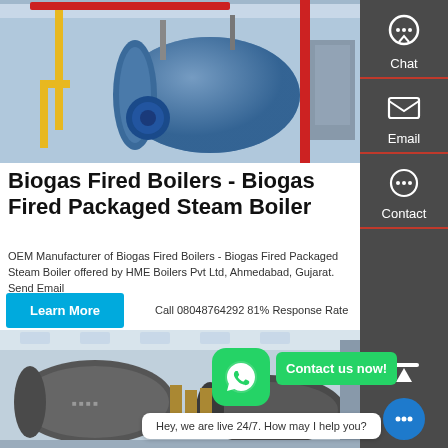[Figure (photo): Industrial boiler room with blue horizontal fire-tube steam boiler, yellow and red piping, in a large factory setting]
Biogas Fired Boilers - Biogas Fired Packaged Steam Boiler
OEM Manufacturer of Biogas Fired Boilers - Biogas Fired Packaged Steam Boiler offered by HME Boilers Pvt Ltd, Ahmedabad, Gujarat. Send Email Call 08048764292 81% Response Rate
Learn More
[Figure (photo): Industrial boiler installation with large cylindrical pressure vessels and piping in a factory]
Contact us now!
Hey, we are live 24/7. How may I help you?